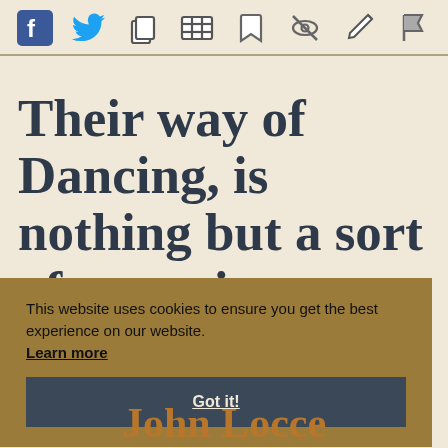[Social share icons: Facebook, Twitter, Copy, Video, Bookmark, Hide, Edit, Flag]
Their way of Dancing, is nothing but a sort of stamping Motion,
This website uses cookies to ensure you get the best experience on our website. Learn more
Got it!
John Loccer